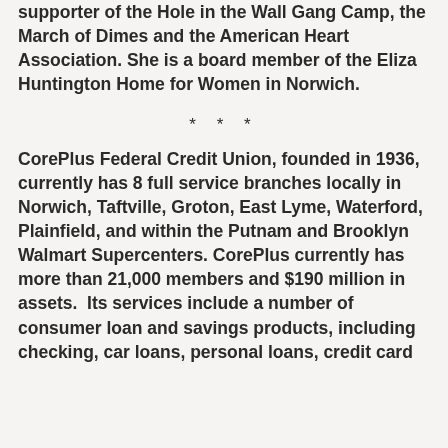supporter of the Hole in the Wall Gang Camp, the March of Dimes and the American Heart Association. She is a board member of the Eliza Huntington Home for Women in Norwich.
* * *
CorePlus Federal Credit Union, founded in 1936, currently has 8 full service branches locally in Norwich, Taftville, Groton, East Lyme, Waterford, Plainfield, and within the Putnam and Brooklyn Walmart Supercenters. CorePlus currently has more than 21,000 members and $190 million in assets.  Its services include a number of consumer loan and savings products, including checking, car loans, personal loans, credit card